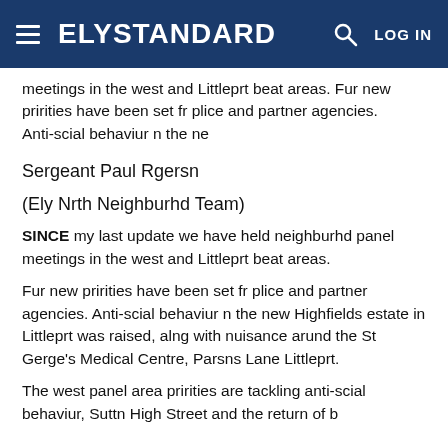ELY STANDARD | LOG IN
meetings in the west and Littleprt beat areas. Fur new pririties have been set fr plice and partner agencies. Anti-scial behaviur n the ne
Sergeant Paul Rgersn
(Ely Nrth Neighburhd Team)
SINCE my last update we have held neighburhd panel meetings in the west and Littleprt beat areas.
Fur new pririties have been set fr plice and partner agencies. Anti-scial behaviur n the new Highfields estate in Littleprt was raised, alng with nuisance arund the St Gerge's Medical Centre, Parsns Lane Littleprt.
The west panel area pririties are tackling anti-scial behaviur, Suttn High Street and the return of b...